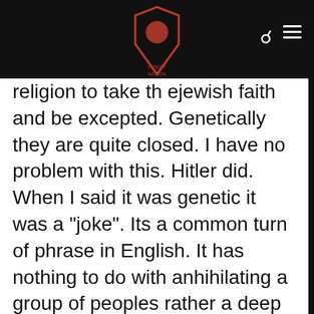religion to take th ejewish faith and be excepted. Genetically they are quite closed. I have no problem with this. Hitler did. When I said it was genetic it was a "joke". Its a common turn of phrase in English. It has nothing to do with anhihilating a group of peoples rather a deep seated hatred. And like I said I offer no fucking appologies. The french opposed our entry into the common market for years, despite millions of our boys dying in their country to liberate them or pin th eGermans back. We also have been waring with them for the past 500 plus years. Im not prepared to forgive and forget when every political decision is challenged by them even if they previously agree with our point of view but rather make a profit